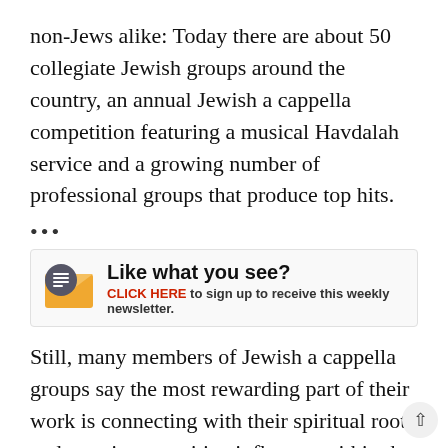non-Jews alike: Today there are about 50 collegiate Jewish groups around the country, an annual Jewish a cappella competition featuring a musical Havdalah service and a growing number of professional groups that produce top hits.
[Figure (infographic): Newsletter signup prompt with envelope icon, bold headline 'Like what you see?' and subtext 'CLICK HERE to sign up to receive this weekly newsletter.']
Still, many members of Jewish a cappella groups say the most rewarding part of their work is connecting with their spiritual roots and exerting a positive influence within the Jewish tradition. “Creating community is not just rewarding for us, it’s an underlying need in the Jewish community,” says Mike Boxer, a member of Six13. Both he and